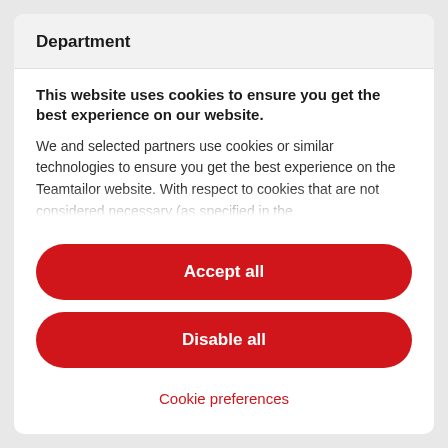Department
This website uses cookies to ensure you get the best experience on our website.
We and selected partners use cookies or similar technologies to ensure you get the best experience on the Teamtailor website. With respect to cookies that are not considered necessary (as specified in the
Accept all
Disable all
Cookie preferences